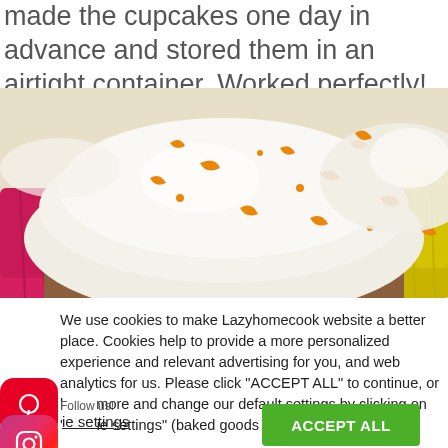made the cupcakes one day in advance and stored them in an airtight container. Worked perfectly!
[Figure (photo): Close-up photo of cupcakes with white cream cheese frosting topped with orange zest, in pink and yellow cupcake liners]
We use cookies to make Lazyhomecook website a better place. Cookies help to provide a more personalized experience and relevant advertising for you, and web analytics for us. Please click "ACCEPT ALL" to continue, or learn more and change our default settings by clicking on "Cookie settings" (baked goods not included).
Cookie settings
ACCEPT ALL